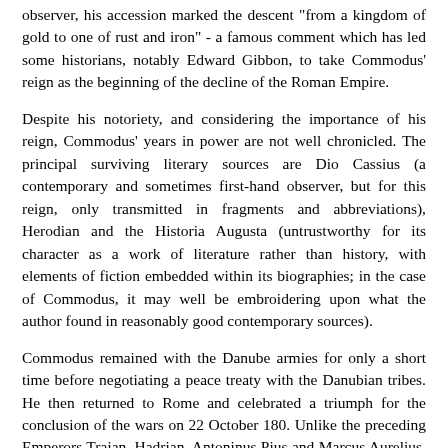observer, his accession marked the descent "from a kingdom of gold to one of rust and iron" - a famous comment which has led some historians, notably Edward Gibbon, to take Commodus' reign as the beginning of the decline of the Roman Empire.
Despite his notoriety, and considering the importance of his reign, Commodus' years in power are not well chronicled. The principal surviving literary sources are Dio Cassius (a contemporary and sometimes first-hand observer, but for this reign, only transmitted in fragments and abbreviations), Herodian and the Historia Augusta (untrustworthy for its character as a work of literature rather than history, with elements of fiction embedded within its biographies; in the case of Commodus, it may well be embroidering upon what the author found in reasonably good contemporary sources).
Commodus remained with the Danube armies for only a short time before negotiating a peace treaty with the Danubian tribes. He then returned to Rome and celebrated a triumph for the conclusion of the wars on 22 October 180. Unlike the preceding Emperors Trajan, Hadrian, Antoninus Pius and Marcus Aurelius, he seems to have had little interest in the business of administration and tended throughout his reign to leave the practical running of the state to a succession of favorites, beginning at this time with Saoterus, a freedman from Nicomedia who had become his chamberlain.